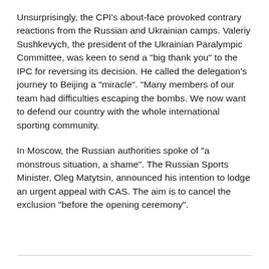Unsurprisingly, the CPI's about-face provoked contrary reactions from the Russian and Ukrainian camps. Valeriy Sushkevych, the president of the Ukrainian Paralympic Committee, was keen to send a "big thank you" to the IPC for reversing its decision. He called the delegation's journey to Beijing a "miracle". "Many members of our team had difficulties escaping the bombs. We now want to defend our country with the whole international sporting community.
In Moscow, the Russian authorities spoke of "a monstrous situation, a shame". The Russian Sports Minister, Oleg Matytsin, announced his intention to lodge an urgent appeal with CAS. The aim is to cancel the exclusion "before the opening ceremony".